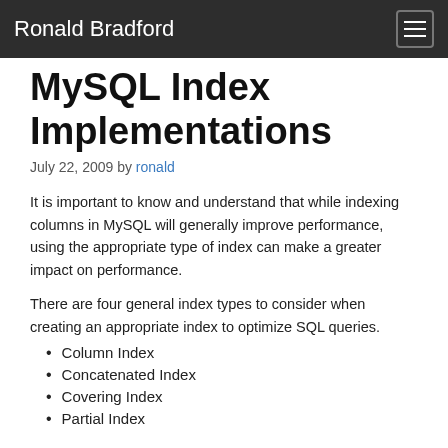Ronald Bradford
MySQL Index Implementations
July 22, 2009 by ronald
It is important to know and understand that while indexing columns in MySQL will generally improve performance, using the appropriate type of index can make a greater impact on performance.
There are four general index types to consider when creating an appropriate index to optimize SQL queries.
Column Index
Concatenated Index
Covering Index
Partial Index
For the purpose of this discussion I am excluding other